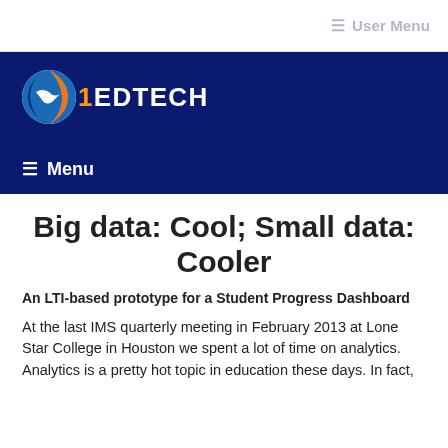≡ User Menu
[Figure (logo): 1EdTech logo with circular globe icon and navigation menu bar on dark navy background]
Big data: Cool; Small data: Cooler
An LTI-based prototype for a Student Progress Dashboard
At the last IMS quarterly meeting in February 2013 at Lone Star College in Houston we spent a lot of time on analytics. Analytics is a pretty hot topic in education these days. In fact,